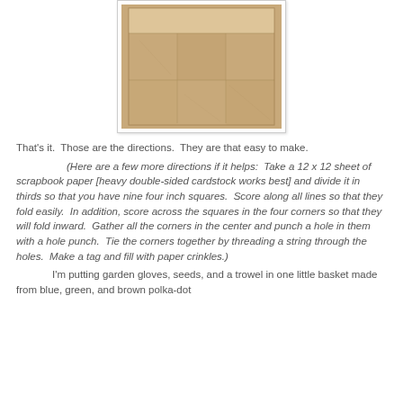[Figure (photo): A brown paper bag or kraft paper sheet laid flat, with scored fold lines dividing it into thirds (nine sections forming a 3x3 grid), appearing crinkled and textured.]
That's it.  Those are the directions.  They are that easy to make.
(Here are a few more directions if it helps:  Take a 12 x 12 sheet of scrapbook paper [heavy double-sided cardstock works best] and divide it in thirds so that you have nine four inch squares.  Score along all lines so that they fold easily.  In addition, score across the squares in the four corners so that they will fold inward.  Gather all the corners in the center and punch a hole in them with a hole punch.  Tie the corners together by threading a string through the holes.  Make a tag and fill with paper crinkles.)
        I'm putting garden gloves, seeds, and a trowel in one little basket made from blue, green, and brown polka-dot